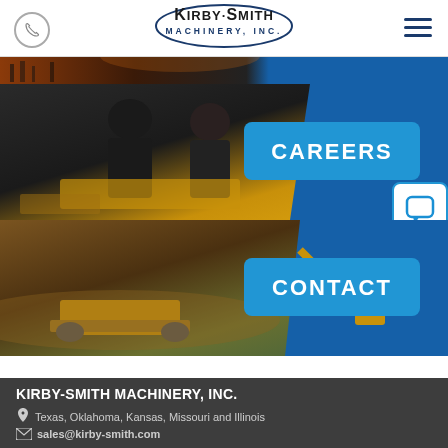[Figure (logo): Kirby-Smith Machinery, Inc. logo in oval border]
[Figure (photo): Top image strip showing outdoor/industrial scene]
[Figure (photo): Two workers in dark uniforms examining machinery with CAREERS button overlay]
[Figure (photo): Bulldozer on dirt excavation site with CONTACT button overlay]
KIRBY-SMITH MACHINERY, INC.
Texas, Oklahoma, Kansas, Missouri and Illinois
sales@kirby-smith.com